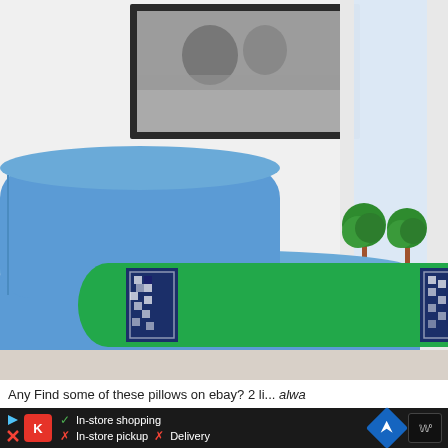[Figure (photo): Interior photo of a modern room with a blue upholstered chaise lounge/daybed featuring a green cylindrical bolster pillow with Greek key patterned trim at each end. Behind it is a white wall with a black-framed black-and-white photo. To the right is a window with white trim and small green topiary plants on the sill.]
Any Find some of these pillows on ebay? 2 li... always
[Figure (infographic): Advertisement bar showing store information icons: a red K icon, a play button icon, checkmark for In-store shopping, X for In-store pickup, X for Delivery, a blue navigation diamond icon, and a Waze-style logo.]